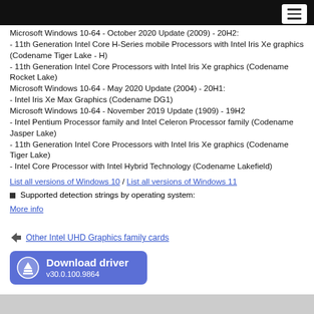Microsoft Windows 10-64 - October 2020 Update (2009) - 20H2:
- 11th Generation Intel Core H-Series mobile Processors with Intel Iris Xe graphics (Codename Tiger Lake - H)
- 11th Generation Intel Core Processors with Intel Iris Xe graphics (Codename Rocket Lake)
Microsoft Windows 10-64 - May 2020 Update (2004) - 20H1:
- Intel Iris Xe Max Graphics (Codename DG1)
Microsoft Windows 10-64 - November 2019 Update (1909) - 19H2
- Intel Pentium Processor family and Intel Celeron Processor family (Codename Jasper Lake)
- 11th Generation Intel Core Processors with Intel Iris Xe graphics (Codename Tiger Lake)
- Intel Core Processor with Intel Hybrid Technology (Codename Lakefield)
List all versions of Windows 10 / List all versions of Windows 11
Supported detection strings by operating system:
More info
Other Intel UHD Graphics family cards
Download driver v30.0.100.9864